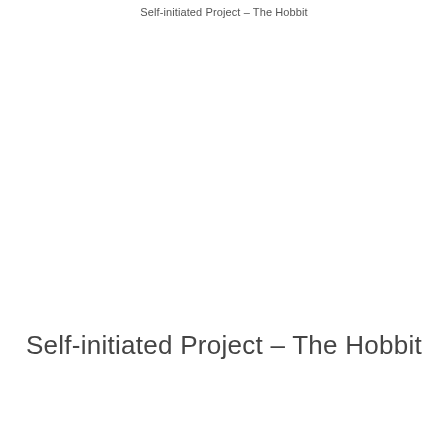Self-initiated Project – The Hobbit
Self-initiated Project – The Hobbit